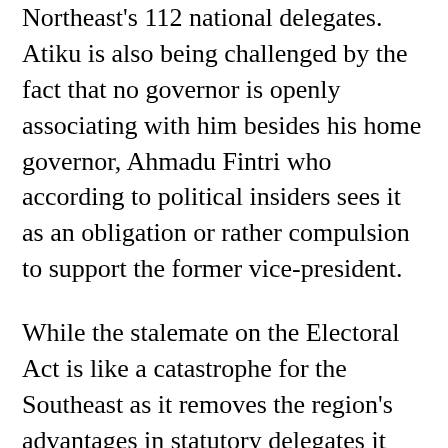Northeast's 112 national delegates. Atiku is also being challenged by the fact that no governor is openly associating with him besides his home governor, Ahmadu Fintri who according to political insiders sees it as an obligation or rather compulsion to support the former vice-president.
While the stalemate on the Electoral Act is like a catastrophe for the Southeast as it removes the region's advantages in statutory delegates it also at the same time present's the region's diminished LGAs, 95.
The development according to political stakeholders shifts attention to the Southwest